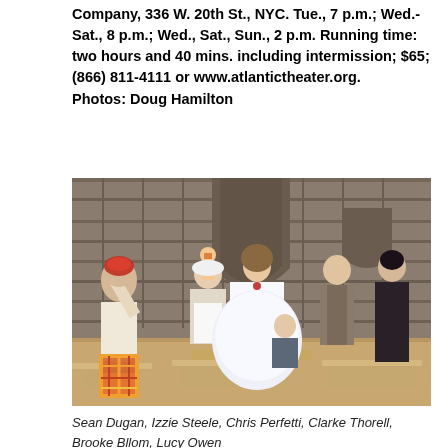Company, 336 W. 20th St., NYC. Tue., 7 p.m.; Wed.-Sat., 8 p.m.; Wed., Sat., Sun., 2 p.m. Running time: two hours and 40 mins. including intermission; $65; (866) 811-4111 or www.atlantictheater.org.
Photos: Doug Hamilton
[Figure (photo): Theater production photo showing six actors on a stage set designed to look like a church interior with stone arches. From left: a person in a white shirt and colorful plaid skirt with arm raised, a person in a maid costume holding a doll, a woman in a large white Victorian dress, a man in a suit, a child seated on a bench, and a woman in dark clothing. Wooden benches are visible on stage.]
Sean Dugan, Izzie Steele, Chris Perfetti, Clarke Thorell, Brooke Bllom, Lucy Owen